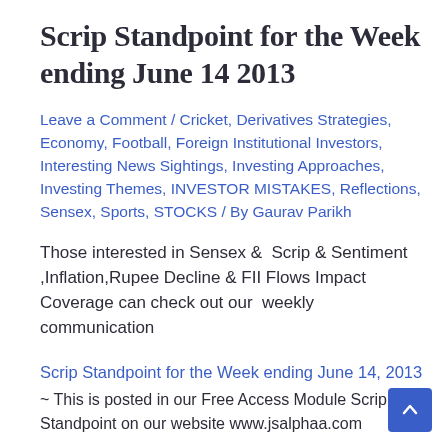Scrip Standpoint for the Week ending June 14 2013
Leave a Comment / Cricket, Derivatives Strategies, Economy, Football, Foreign Institutional Investors, Interesting News Sightings, Investing Approaches, Investing Themes, INVESTOR MISTAKES, Reflections, Sensex, Sports, STOCKS / By Gaurav Parikh
Those interested in Sensex &  Scrip & Sentiment ,Inflation,Rupee Decline & FII Flows Impact Coverage can check out our  weekly communication
Scrip Standpoint for the Week ending June 14, 2013
~ This is posted in our Free Access Module Scrip Standpoint on our website www.jsalphaa.com